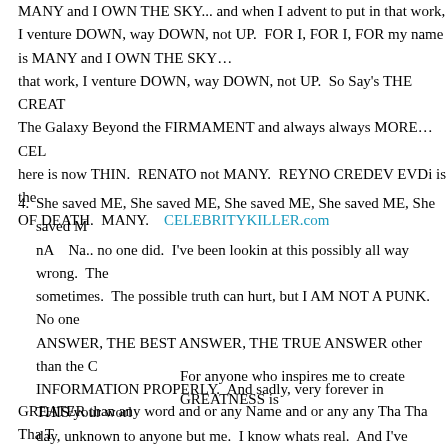MANY and I OWN THE SKY... and when I advent to put in that work, I venture DOWN, way DOWN, not UP.  FOR I, FOR I, FOR my name is MANY and I OWN THE SKY… that work, I venture DOWN, way DOWN, not UP.  So Say's THE CREAT The Galaxy Beyond the FIRMAMENT and always always MORE…  CEL here is now THIN.  RENATO not MANY.  REYNO CREDEV EVDi is the OF DEATH.  MANY.   CELEBRITYKILLER.com
4.  She saved ME, She saved ME, She saved ME, She saved ME, She saved M nA   Na.. no one did.  I've been lookin at this possibly all way wrong.  The sometimes.  The possible truth can hurt, but I AM NOT A PUNK.  No one ANSWER, THE BEST ANSWER, THE TRUE ANSWER other than the C INFORMATION PROPERLY.  And sadly, very forever in THIS/your worl day, unknown to anyone but me.  I know whats real.  And I've been    th way.  I have not slept while PROCESSING this, cause, i had to make sure, guess.  But this is true.  I have NOT, i repeat, i have NOT,      . But every words from THIS/your world that you very much understand which i will n projected upon      and
For anyone who inspires me to create GREATNESS is
GREATER than any word and or any Name and or any any Tha Tha Tha T